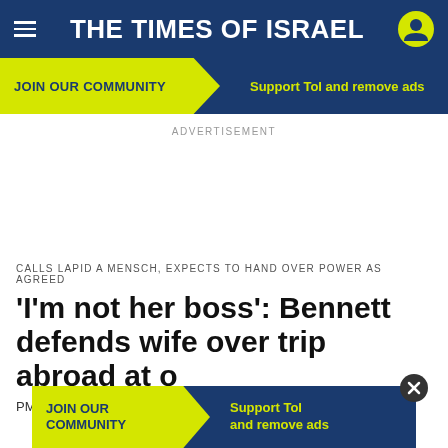THE TIMES OF ISRAEL
JOIN OUR COMMUNITY  |  Support ToI and remove ads
ADVERTISEMENT
CALLS LAPID A MENSCH, EXPECTS TO HAND OVER POWER AS AGREED
'I'm not her boss': Bennett defends wife over trip abroad at o...
PM sa...
JOIN OUR COMMUNITY  |  Support ToI and remove ads